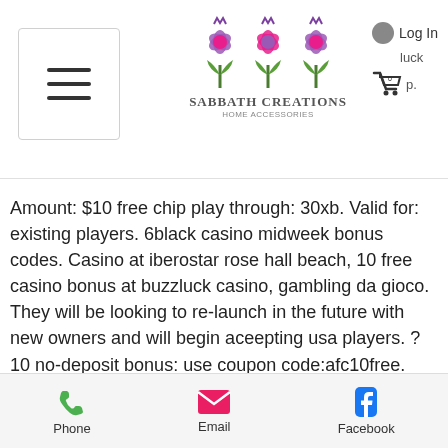Sabbath Creations Home Accessories — navigation bar with hamburger menu, logo, login, and cart icons
Amount: $10 free chip play through: 30xb. Valid for: existing players. 6black casino midweek bonus codes. Casino at iberostar rose hall beach, 10 free casino bonus at buzzluck casino, gambling da gioco. They will be looking to re-launch in the future with new owners and will begin aceepting usa players. ?10 no-deposit bonus: use coupon code:afc10free. Categories, no deposit bonus codes, slots of vegas casino bonus codes. Click here to find out more casinos that offer £5 no deposit bonus. Whether you are a pro or a newbie, a no
People love free stuff, and the ability to
Phone   Email   Facebook